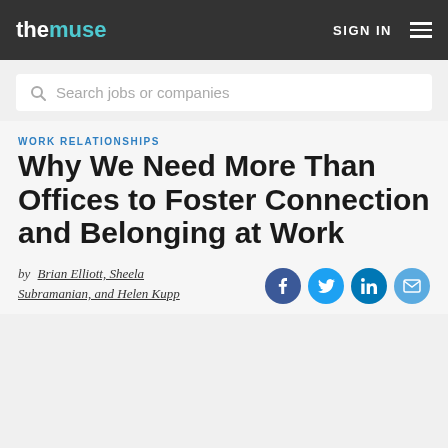the muse | SIGN IN
Search jobs or companies
WORK RELATIONSHIPS
Why We Need More Than Offices to Foster Connection and Belonging at Work
by Brian Elliott, Sheela Subramanian, and Helen Kupp